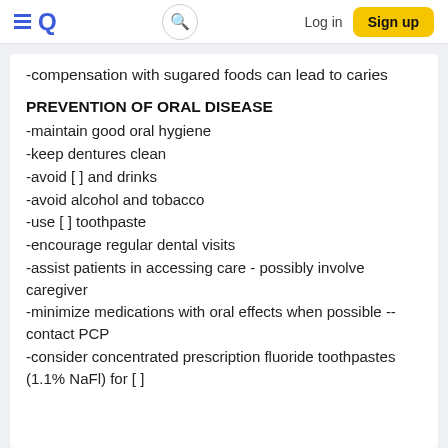≡Q  [search]  Log in  Sign up
-compensation with sugared foods can lead to caries
PREVENTION OF ORAL DISEASE
-maintain good oral hygiene
-keep dentures clean
-avoid [ ] and drinks
-avoid alcohol and tobacco
-use [ ] toothpaste
-encourage regular dental visits
-assist patients in accessing care - possibly involve caregiver
-minimize medications with oral effects when possible --contact PCP
-consider concentrated prescription fluoride toothpastes (1.1% NaFl) for [ ]